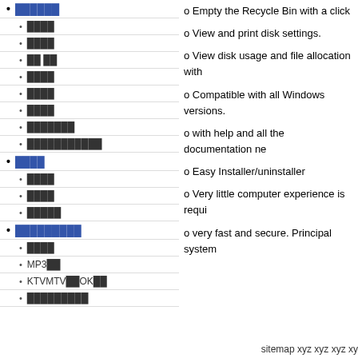██████
████
████
██ ██
████
████
████
███████
███████████
████
████
████
█████
█████████
████
MP3██
KTVMTV██OK██
█████████
o Empty the Recycle Bin with a click
o View and print disk settings.
o View disk usage and file allocation with
o Compatible with all Windows versions.
o with help and all the documentation ne
o Easy Installer/uninstaller
o Very little computer experience is requi
o very fast and secure. Principal system
sitemap xyz xyz xyz xy